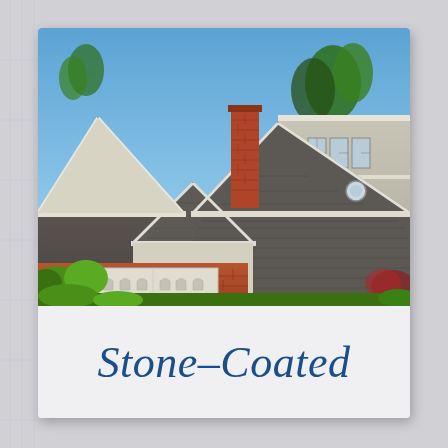[Figure (photo): Exterior photo of a residential house with prominent stone-coated metal roofing. The roof has multiple gabled peaks in dark grey/charcoal stone-coated tiles. The house features a red brick lower level, white garage door, beige siding on the upper right section, round porthole-style windows in the gable peaks, a brick chimney in the center, and lush green landscaping. Blue sky with trees visible in the background.]
Stone-Coated